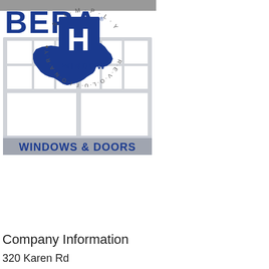[Figure (logo): BERA Windows & Doors logo with blue text 'BERA' at top, a window frame containing a blue silhouette of the Upper Peninsula of Michigan, and a gray banner reading 'WINDOWS & DOORS' in blue text]
[Figure (logo): H Window logo with circular text reading 'SIMPLY REVOLUTIONARY' around a blue square containing a white H, with 'WINDOW' text below]
Company Information
320 Karen Rd